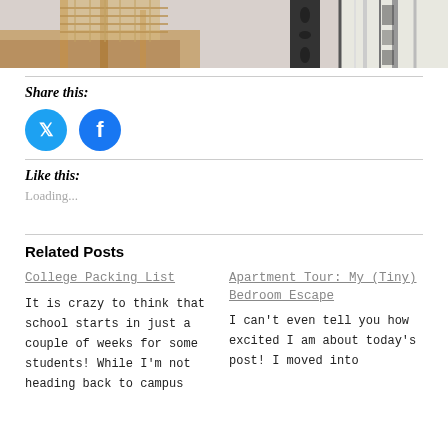[Figure (photo): Top portion of a photo showing a wooden wicker chair and a patterned rug in a bedroom or apartment setting]
Share this:
[Figure (infographic): Twitter and Facebook social share buttons as blue circles]
Like this:
Loading...
Related Posts
College Packing List
It is crazy to think that school starts in just a couple of weeks for some students! While I'm not heading back to campus
Apartment Tour: My (Tiny) Bedroom Escape
I can't even tell you how excited I am about today's post! I moved into